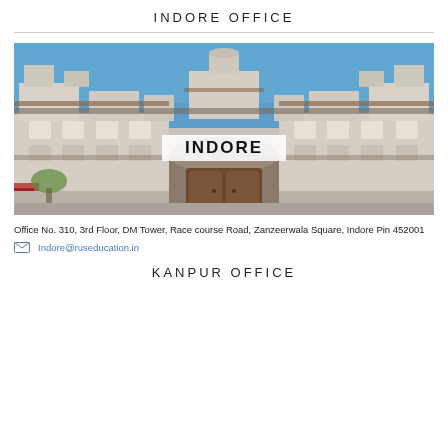INDORE OFFICE
[Figure (photo): Photograph of a historic multi-storey Indo-Saracenic style palace/building in Indore with white and terracotta facade, ornate balconies and towers under a blue sky. A banner reading 'INDORE' is overlaid on the center of the image.]
Office No. 310, 3rd Floor, DM Tower, Race course Road, Zanzeerwala Square, Indore Pin 452001
Indore@ruseducation.in
KANPUR OFFICE